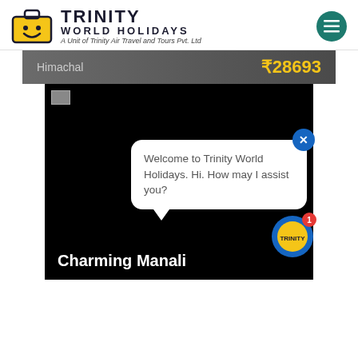[Figure (logo): Trinity World Holidays logo with smiley face suitcase icon and text]
A Unit of Trinity Air Travel and Tours Pvt. Ltd
Himachal  ₹28693
[Figure (screenshot): Dark/black main image area with a small broken image placeholder in top-left corner]
Welcome to Trinity World Holidays. Hi. How may I assist you?
Charming Manali